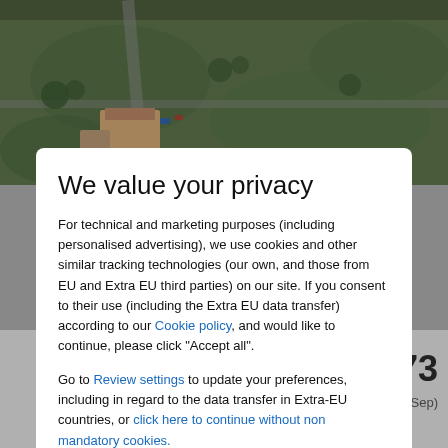[Figure (photo): Aerial view of a golf course or green landscape with buildings and roads visible from above]
We value your privacy
For technical and marketing purposes (including personalised advertising), we use cookies and other similar tracking technologies (our own, and those from EU and Extra EU third parties) on our site. If you consent to their use (including the Extra EU data transfer) according to our Cookie policy, and would like to continue, please click "Accept all".
Go to Review settings to update your preferences, including in regard to the data transfer in Extra-EU countries, or click here to continue without non mandatory cookies.
ACCEPT ALL
per person from £273
(for 3 nights from Wed, 28 Sep)